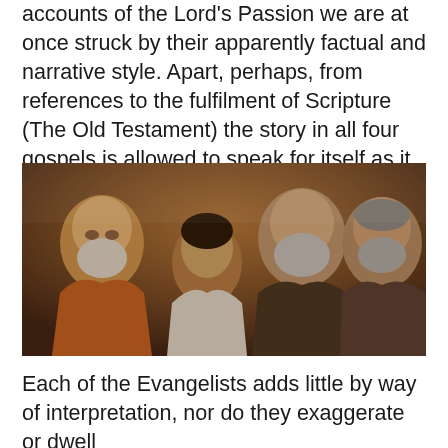accounts of the Lord's Passion we are at once struck by their apparently factual and narrative style. Apart, perhaps, from references to the fulfilment of Scripture (The Old Testament) the story in all four gospels is allowed to speak for itself as it unfolds.
[Figure (illustration): A classical oil painting depicting four figures, appearing to be elderly bearded men and a younger person, huddled together in contemplation or discussion, reminiscent of a Baroque-style religious painting.]
Each of the Evangelists adds little by way of interpretation, nor do they exaggerate or dwell